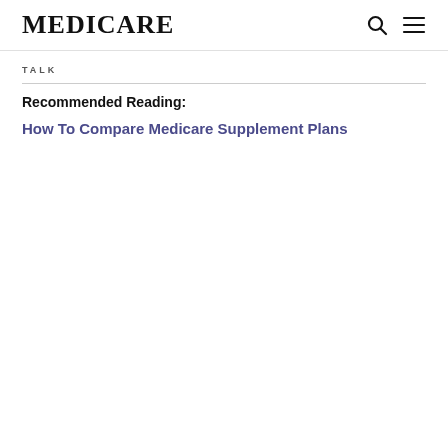MEDICARE
TALK
Recommended Reading:
How To Compare Medicare Supplement Plans